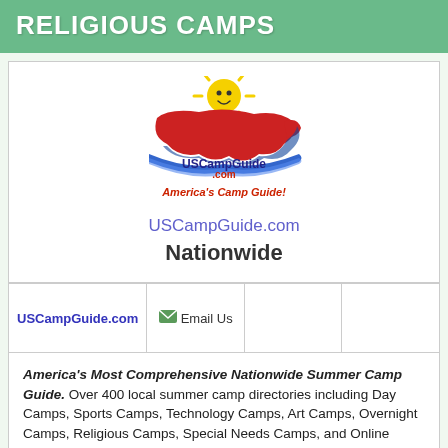RELIGIOUS CAMPS
[Figure (logo): USCampGuide.com logo with smiling sun, red USA map shape, and blue banner. Text: USCampGuide.com and America's Camp Guide!]
USCampGuide.com
Nationwide
|  | Contact |  |  |
| --- | --- | --- | --- |
| USCampGuide.com | Email Us |  |  |
America's Most Comprehensive Nationwide Summer Camp Guide. Over 400 local summer camp directories including Day Camps, Sports Camps, Technology Camps, Art Camps, Overnight Camps, Religious Camps, Special Needs Camps, and Online Camps! Fill out a 2 minute Camp finder form to send your camp inquiry to all the camps that meet your needs.